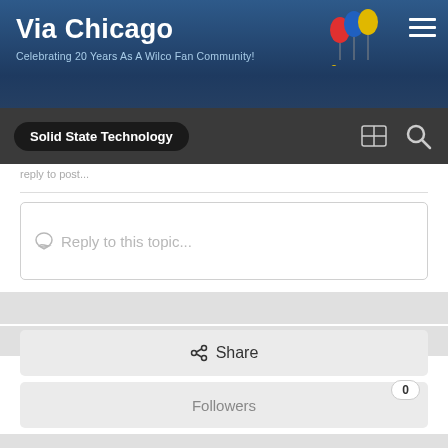Via Chicago — Celebrating 20 Years As A Wilco Fan Community!
Solid State Technology
Reply to this topic...
Share
Followers 0
Go to topic listing